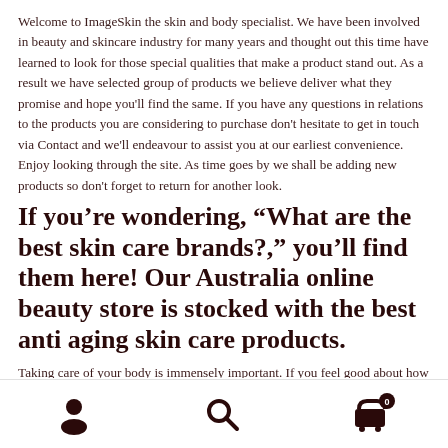Welcome to ImageSkin the skin and body specialist. We have been involved in beauty and skincare industry for many years and thought out this time have learned to look for those special qualities that make a product stand out. As a result we have selected group of products we believe deliver what they promise and hope you'll find the same. If you have any questions in relations to the products you are considering to purchase don't hesitate to get in touch via Contact and we'll endeavour to assist you at our earliest convenience. Enjoy looking through the site. As time goes by we shall be adding new products so don't forget to return for another look.
If you're wondering, “What are the best skin care brands?,” you’ll find them here! Our Australia online beauty store is stocked with the best anti aging skin care products.
Taking care of your body is immensely important. If you feel good about how you look, you will project confidence in every aspect
[user icon] [search icon] [cart icon with 0]